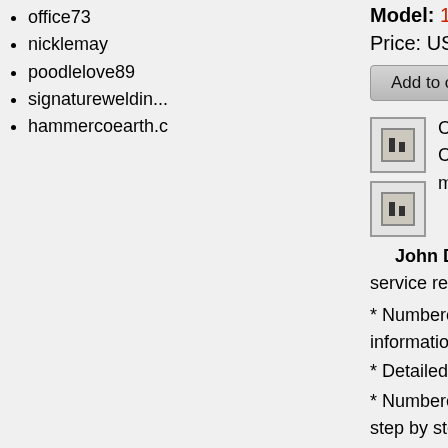office73
nicklemay
poodlelove89
signatureweldin...
hammercoearth.c
Model: 17G
Price: US$ 35.00
Add to cart
[Figure (illustration): Two small document/book icons stacked vertically]
Complete repair service manual for Compact Excavators, with all the w... maintain, repair, and rebuild like pro...
John Deere 17G Compact Excavat... service repair manual includes:
* Numbered table of contents easy to use so... information you need fast.
* Detailed sub-steps expand on repair proce...
* Numbered instructions guide you through e... step by step.
* Notes, cautions and warnings throughout e... critical information.
* Bold figure number help you quickly match... instructions.